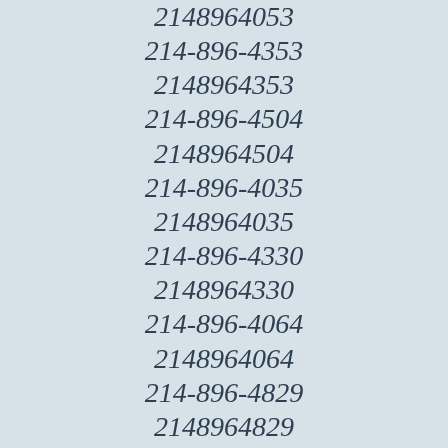2148964053
214-896-4353
2148964353
214-896-4504
2148964504
214-896-4035
2148964035
214-896-4330
2148964330
214-896-4064
2148964064
214-896-4829
2148964829
214-896-4712
2148964712
214-896-4225